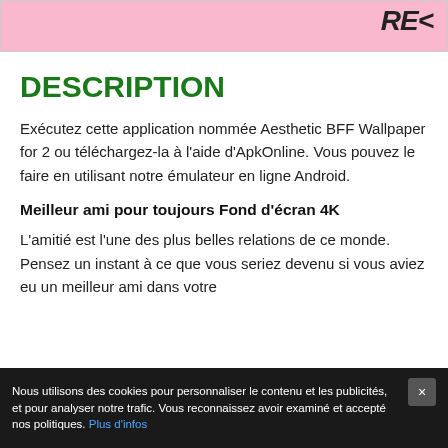[Figure (illustration): Cropped bottom portion of a pink illustrated image with dark text 'RE' visible in top right area]
DESCRIPTION
Exécutez cette application nommée Aesthetic BFF Wallpaper for 2 ou téléchargez-la à l'aide d'ApkOnline. Vous pouvez le faire en utilisant notre émulateur en ligne Android.
Meilleur ami pour toujours Fond d'écran 4K
L'amitié est l'une des plus belles relations de ce monde. Pensez un instant à ce que vous seriez devenu si vous aviez eu un meilleur ami dans votre
Nous utilisons des cookies pour personnaliser le contenu et les publicités, et pour analyser notre trafic. Vous reconnaissez avoir examiné et accepté nos politiques. Plus d'infos ×